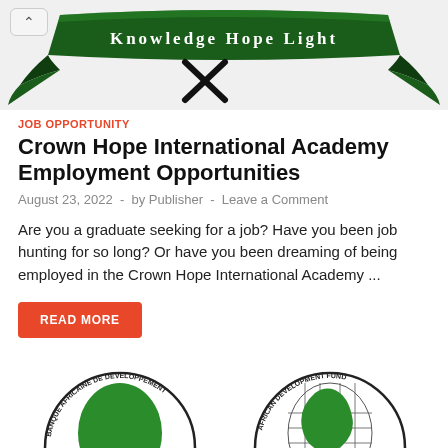[Figure (illustration): Crown Hope International Academy banner with green ribbon scroll reading 'Knowledge Hope Light' on dark/black background]
JOB OPPORTUNITY
Crown Hope International Academy Employment Opportunities
August 23, 2022  -  by Publisher  -  Leave a Comment
Are you a graduate seeking for a job? Have you been job hunting for so long? Or have you been dreaming of being employed in the Crown Hope International Academy ...
READ MORE
[Figure (logo): Two circular logos at bottom: African Development Bank (BANQUE AFRICAINE DE DEVELOPPEMENT) and African Development Fund, both featuring green Africa map]